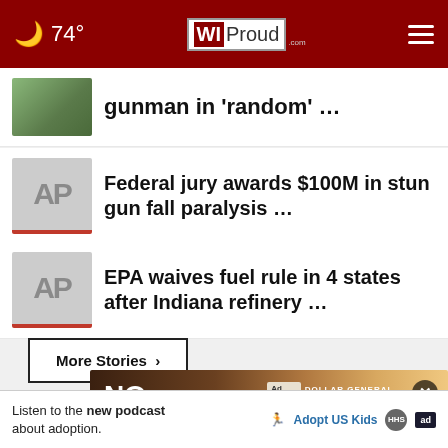74° WIProud.com
gunman in 'random' …
Federal jury awards $100M in stun gun fall paralysis …
EPA waives fuel rule in 4 states after Indiana refinery …
More Stories ›
[Figure (photo): Ad banner with NO ONE text and Dollar General Literacy Foundation logo]
Listen to the new podcast about adoption.